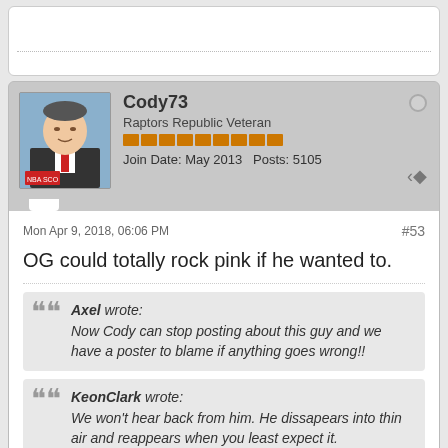[Figure (screenshot): Partial view of a previous forum post card (cut off at top)]
Cody73
Raptors Republic Veteran
Join Date: May 2013   Posts: 5105
Mon Apr 9, 2018, 06:06 PM
#53
OG could totally rock pink if he wanted to.
Axel wrote:
Now Cody can stop posting about this guy and we have a poster to blame if anything goes wrong!!
KeonClark wrote:
We won't hear back from him. He dissapears into thin air and reappears when you least expect it.